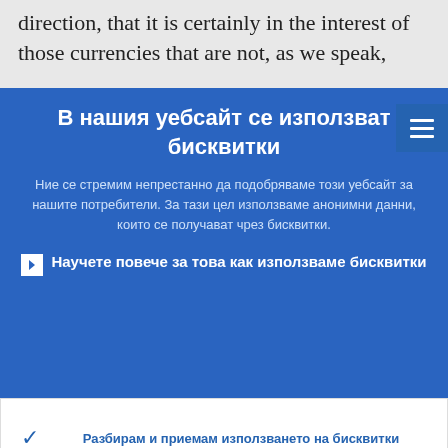direction, that it is certainly in the interest of those currencies that are not, as we speak,
В нашия уебсайт се използват бисквитки
Ние се стремим непрестанно да подобряваме този уебсайт за нашите потребители. За тази цел използваме анонимни данни, които се получават чрез бисквитки.
▶ Научете повече за това как използваме бисквитки
✓ Разбирам и приемам използването на бисквитки
✗ Не приемам използването на бисквитки